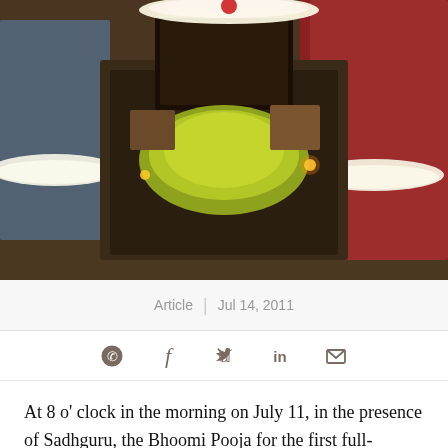[Figure (photo): People in traditional Indian attire performing Bhoomi Pooja / religious ceremony around a decorated altar with flowers, garlands, lamps and a framed image. Two figures in red/maroon sarees with white flower garlands on either side, and a person in blue on the left.]
Article | Jul 14, 2011
[Figure (other): Social sharing icons: WhatsApp, Facebook, Twitter, LinkedIn, Email]
At 8 o' clock in the morning on July 11, in the presence of Sadhguru, the Bhoomi Pooja for the first full-fledged Bhairavi space outside the Isha Yoga Center was conducted in Salem. The Linga Bhairavi located on 1.5 acres of land on the Salem Omaloor Main Road, opposite the Salem Government Engineering College